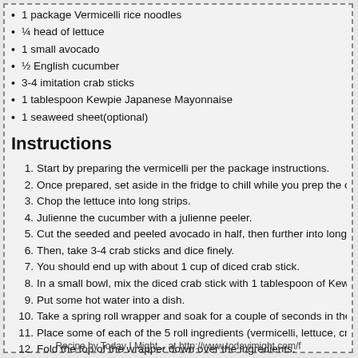1 package Vermicelli rice noodles
¼ head of lettuce
1 small avocado
½ English cucumber
3-4 imitation crab sticks
1 tablespoon Kewpie Japanese Mayonnaise
1 seaweed sheet(optional)
Instructions
1. Start by preparing the vermicelli per the package instructions.
2. Once prepared, set aside in the fridge to chill while you prep the o
3. Chop the lettuce into long strips.
4. Julienne the cucumber with a julienne peeler.
5. Cut the seeded and peeled avocado in half, then further into long s
6. Then, take 3-4 crab sticks and dice finely.
7. You should end up with about 1 cup of diced crab stick.
8. In a small bowl, mix the diced crab stick with 1 tablespoon of Kewp
9. Put some hot water into a dish.
10. Take a spring roll wrapper and soak for a couple of seconds in the
11. Place some of each of the 5 roll ingredients (vermicelli, lettuce, cra of the wrapper.
12. Fold the top of the wrapper down over the ingredients.
13. Fold the sides of the wrapper in, then roll towards you to form the
14. If using the seaweed sheet, cut an eight of a sheet and incorporate strips or cut up into little bits with the vermicelli - you're limited only
Recipe by Today I Might... at http://www.todayimight.com/f